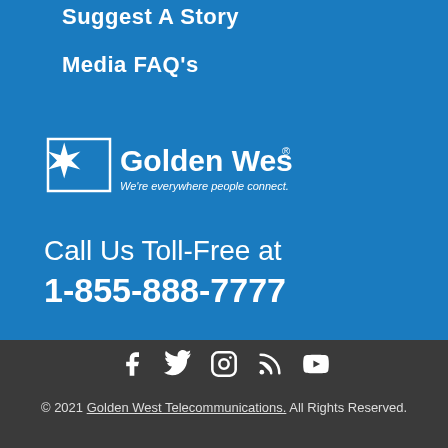Suggest A Story
Media FAQ's
[Figure (logo): Golden West logo with tagline 'We're everywhere people connect.']
Call Us Toll-Free at
1-855-888-7777
[Figure (other): Social media icons: Facebook, Twitter, Instagram, RSS, YouTube]
© 2021 Golden West Telecommunications. All Rights Reserved.